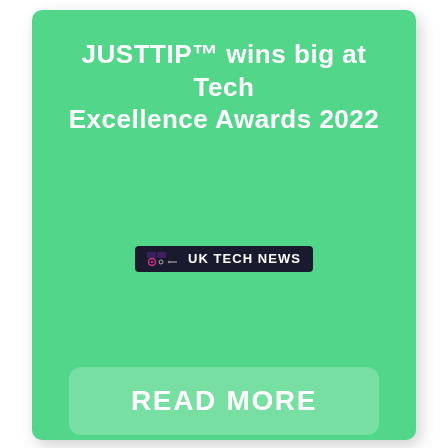JUSTTIP™ wins big at Tech Excellence Awards 2022
[Figure (logo): UK TECH NEWS logo badge — dark background pill with icon and text 'UK TECH NEWS']
READ MORE